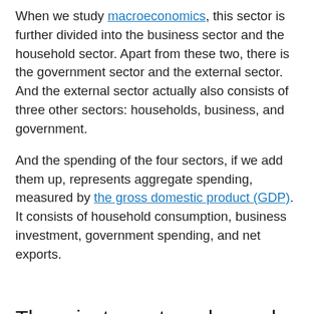When we study macroeconomics, this sector is further divided into the business sector and the household sector. Apart from these two, there is the government sector and the external sector. And the external sector actually also consists of three other sectors: households, business, and government.
And the spending of the four sectors, if we add them up, represents aggregate spending, measured by the gross domestic product (GDP). It consists of household consumption, business investment, government spending, and net exports.
The private sector roles under a free, command, and mixed market